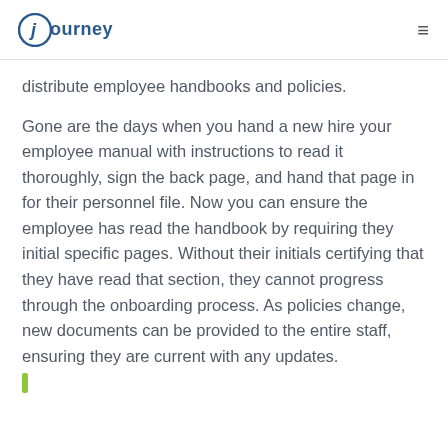journey
distribute employee handbooks and policies.
Gone are the days when you hand a new hire your employee manual with instructions to read it thoroughly, sign the back page, and hand that page in for their personnel file. Now you can ensure the employee has read the handbook by requiring they initial specific pages. Without their initials certifying that they have read that section, they cannot progress through the onboarding process. As policies change, new documents can be provided to the entire staff, ensuring they are current with any updates.